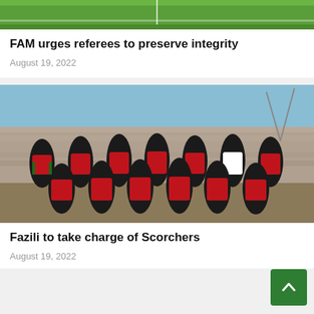[Figure (photo): Partial view of a football/soccer pitch, green field visible at the top of the card]
FAM urges referees to preserve integrity
August 19, 2022
[Figure (photo): A women's football team posing for a group photo on a football pitch. Players wearing red and black kits, one player in white goalkeeper kit, stands in a stadium setting.]
Fazili to take charge of Scorchers
August 19, 2022